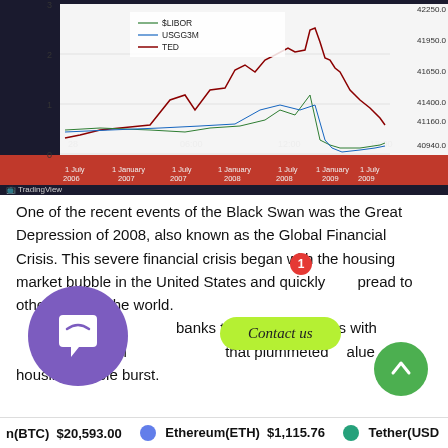[Figure (line-chart): Line chart showing LIBOR (green), USGG3M (blue), and TED spread (dark red) from July 2006 to July 2009, with a secondary y-axis showing values 41160.0–42250.0. The chart also shows intraday time axis (28, 06:00, 12:00, 18:00) with a red background band, and a TradingView watermark.]
One of the recent events of the Black Swan was the Great Depression of 2008, also known as the Global Financial Crisis. This severe financial crisis began with the housing market bubble in the United States and quickly spread to other parts of the world. banks took out huge risks with ci that plummeted value housing bubble burst.
n(BTC) $20,593.00   Ethereum(ETH) $1,115.76   Tether(USD